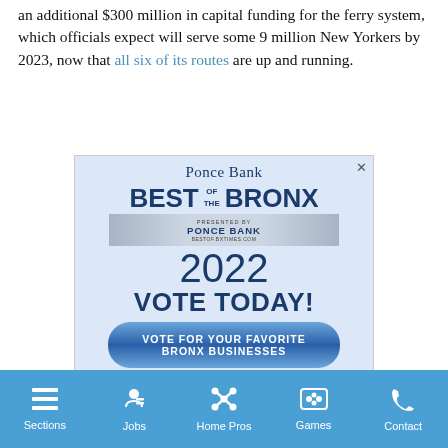an additional $300 million in capital funding for the ferry system, which officials expect will serve some 9 million New Yorkers by 2023, now that all six of its routes are up and running.
[Figure (illustration): Ponce Bank Best of the Bronx 2022 advertisement with 'VOTE TODAY!' and 'VOTE FOR YOUR FAVORITE BRONX BUSINESSES' button]
Sections | Jobs | Home Pros | Games | Contact